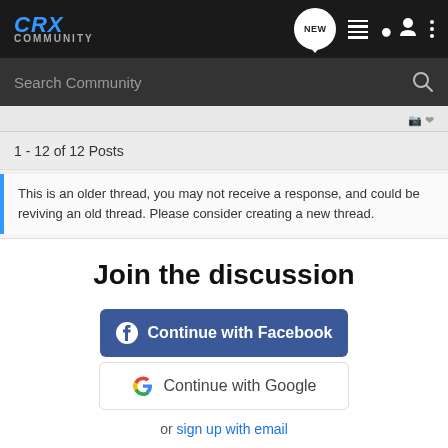CRX Community — navigation bar with NEW, list, user, and more icons
Search Community
1 - 12 of 12 Posts
This is an older thread, you may not receive a response, and could be reviving an old thread. Please consider creating a new thread.
Join the discussion
Continue with Facebook
Continue with Google
or sign up with email